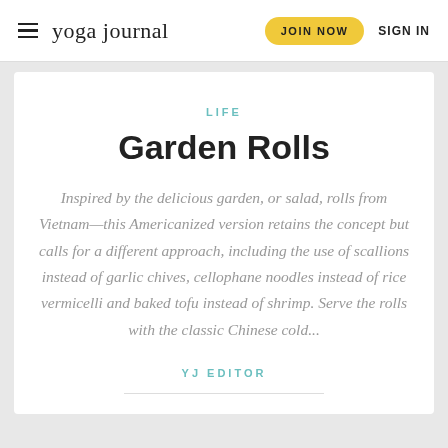yoga journal | JOIN NOW | SIGN IN
LIFE
Garden Rolls
Inspired by the delicious garden, or salad, rolls from Vietnam—this Americanized version retains the concept but calls for a different approach, including the use of scallions instead of garlic chives, cellophane noodles instead of rice vermicelli and baked tofu instead of shrimp. Serve the rolls with the classic Chinese cold...
YJ EDITOR